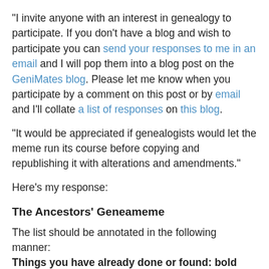“I invite anyone with an interest in genealogy to participate. If you don’t have a blog and wish to participate you can send your responses to me in an email and I will pop them into a blog post on the GeniMates blog. Please let me know when you participate by a comment on this post or by email and I’ll collate a list of responses on this blog.
“It would be appreciated if genealogists would let the meme run its course before copying and republishing it with alterations and amendments.”
Here’s my response:
The Ancestors’ Geneameme
The list should be annotated in the following manner:
Things you have already done or found: bold face type
Things you would like to do or find: italicize (colour optional)
Things you haven’t done or found and don’t care to: plain type
You are encouraged to add extra comments in brackets after each item.